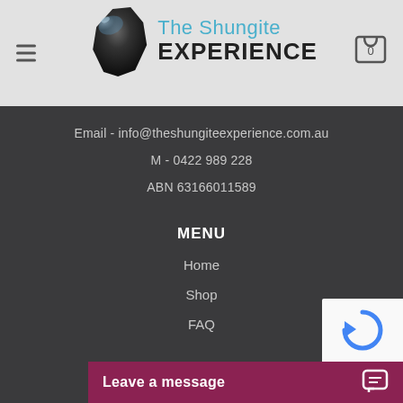The Shungite EXPERIENCE
Email - info@theshungiteexperience.com.au
M - 0422 989 228
ABN 63166011589
MENU
Home
Shop
FAQ
Leave a message